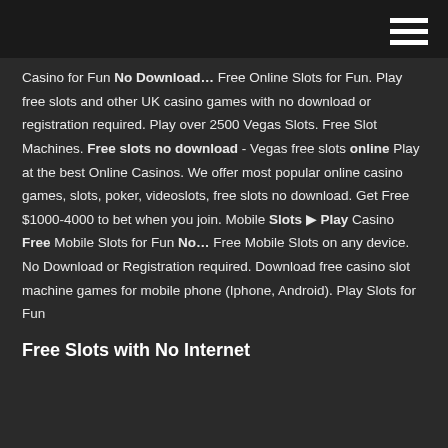Casino for Fun No Download… Free Online Slots for Fun. Play free slots and other UK casino games with no download or registration required. Play over 2500 Vegas Slots. Free Slot Machines. Free slots no download - Vegas free slots online Play at the best Online Casinos. We offer most popular online casino games, slots, poker, videoslots, free slots no download. Get Free $1000-4000 to bet when you join. Mobile Slots ▶ Play Casino Free Mobile Slots for Fun No… Free Mobile Slots on any device. No Download or Registration required. Download free casino slot machine games for mobile phone (Iphone, Android). Play Slots for Fun
Free Slots with No Internet